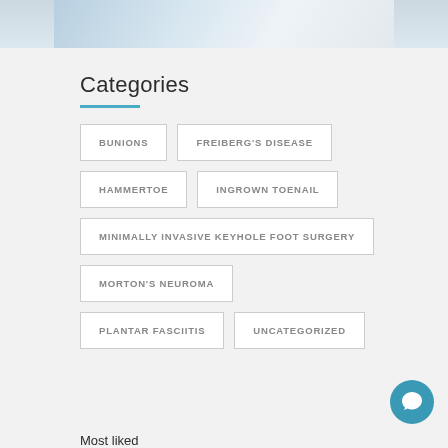[Figure (photo): Partial photograph of a person in white clothing, cropped at top of page]
Categories
BUNIONS
FREIBERG'S DISEASE
HAMMERTOE
INGROWN TOENAIL
MINIMALLY INVASIVE KEYHOLE FOOT SURGERY
MORTON'S NEUROMA
PLANTAR FASCIITIS
UNCATEGORIZED